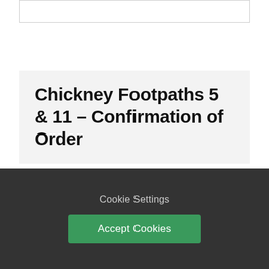Chickney Footpaths 5 & 11 - Confirmation of Order
Section 119 Highways Act 1980
Old Chickney Hall CM6 2BY
Cookie Settings
Accept Cookies